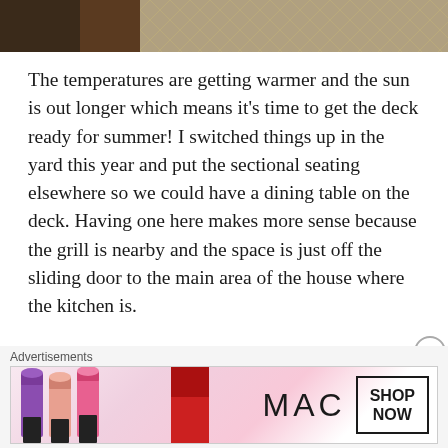[Figure (photo): Blog header image showing a wooden deck/floor with a coffee cup, overlaid with script text reading 'Dust Bunnies & Dog Toys']
The temperatures are getting warmer and the sun is out longer which means it's time to get the deck ready for summer!  I switched things up in the yard this year and put the sectional seating elsewhere so we could have a dining table on the deck.  Having one here makes more sense because the grill is nearby and the space is just off the sliding door to the main area of the house where the kitchen is.
I picked up this great table and chairs set on the local buy/sell page for just $100.  I love that the metal design is sturdy and won't hold water so it should be ready to
[Figure (photo): MAC Cosmetics advertisement banner showing colorful lipsticks (purple, peach, pink, red) with MAC logo and 'SHOP NOW' button]